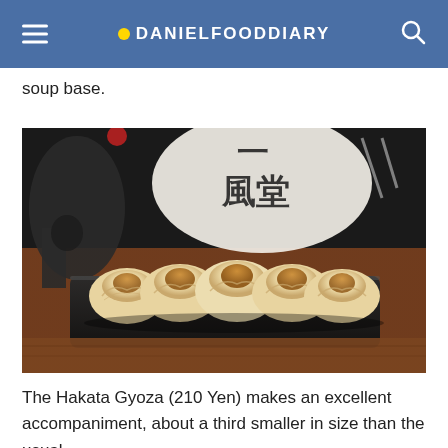DANIELFOODDIARY
soup base.
[Figure (photo): Close-up photo of Hakata Gyoza dumplings on a dark cast iron plate, with a Japanese menu board/sign in the background showing kanji characters, set on a wooden table.]
The Hakata Gyoza (210 Yen) makes an excellent accompaniment, about a third smaller in size than the usual